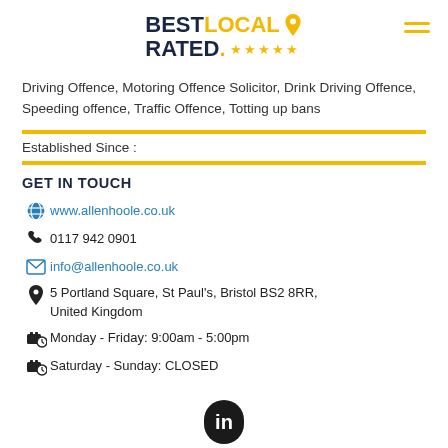[Figure (logo): BestLocalRated logo with star rating and location pin icon, plus hamburger menu icon]
Driving Offence, Motoring Offence Solicitor, Drink Driving Offence, Speeding offence, Traffic Offence, Totting up bans
Established Since :
GET IN TOUCH
www.allenhoole.co.uk
0117 942 0901
info@allenhoole.co.uk
5 Portland Square, St Paul's, Bristol BS2 8RR, United Kingdom
Monday - Friday: 9:00am - 5:00pm
Saturday - Sunday: CLOSED
[Figure (logo): LinkedIn icon (rounded square, dark background, 'in' text in white)]